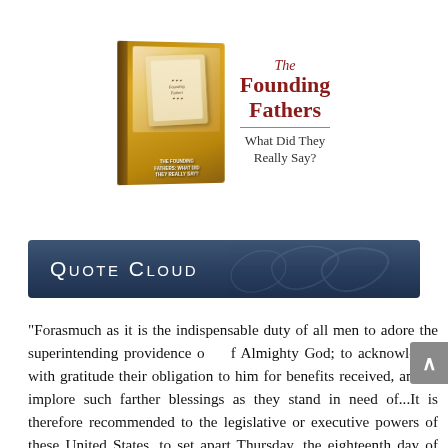[Figure (illustration): Book cover image showing 'The Founding Fathers: What Did They Really Say?' with a decorative old-document style cover and script/serif title text in red.]
Quote Cloud
"Forasmuch as it is the indispensable duty of all men to adore the superintending providence of Almighty God; to acknowledge with gratitude their obligation to him for benefits received, and to implore such farther blessings as they stand in need of...It is therefore recommended to the legislative or executive powers of these United States, to set apart Thursday, the eighteenth day of December next, for solemn thanksgiving and praise; that with one heart and one voice the good